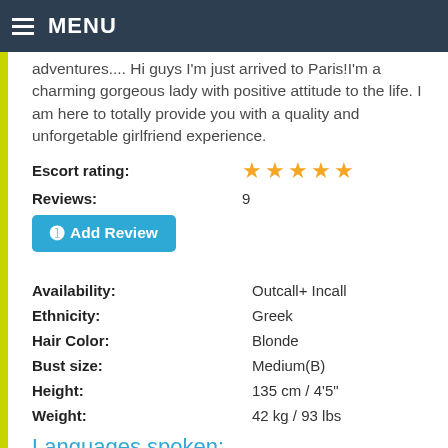MENU
adventures.... Hi guys I'm just arrived to Paris!I'm a charming gorgeous lady with positive attitude to the life. I am here to totally provide you with a quality and unforgetable girlfriend experience.
Escort rating: ★★★★★
Reviews: 9
➕ Add Review
| Field | Value |
| --- | --- |
| Availability: | Outcall+ Incall |
| Ethnicity: | Greek |
| Hair Color: | Blonde |
| Bust size: | Medium(B) |
| Height: | 135 cm / 4'5" |
| Weight: | 42 kg / 93 lbs |
Languages spoken: